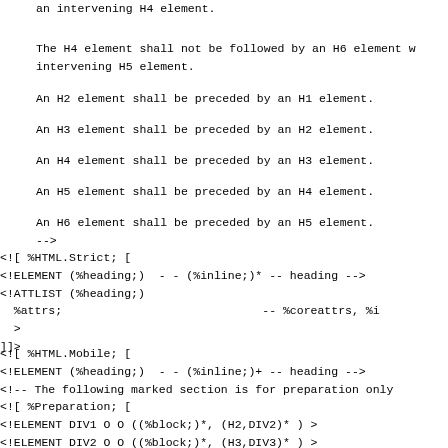an intervening H4 element.
The H4 element shall not be followed by an H6 element w
intervening H5 element.
An H2 element shall be preceded by an H1 element.
An H3 element shall be preceded by an H2 element.
An H4 element shall be preceded by an H3 element.
An H5 element shall be preceded by an H4 element.
An H6 element shall be preceded by an H5 element.
-->
<![ %HTML.Strict; [
<!ELEMENT (%heading;)  - - (%inline;)* -- heading -->
<!ATTLIST (%heading;)
  %attrs;                             -- %coreattrs, %i
  >
]]>
<![ %HTML.Mobile; [
<!ELEMENT (%heading;)  - - (%inline;)+ -- heading -->
<!-- The following marked section is for preparation only
<![ %Preparation; [
<!ELEMENT DIV1 O O ((%block;)*, (H2,DIV2)* ) >
<!ELEMENT DIV2 O O ((%block;)*, (H3,DIV3)* ) >
<!ELEMENT DIV3 O O ((%block;)*, (H4,DIV4)* ) >